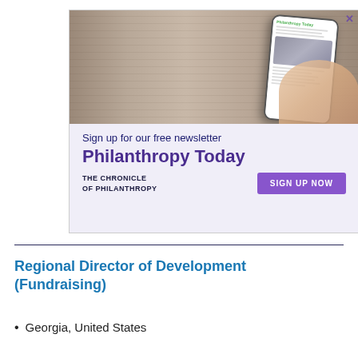[Figure (illustration): Advertisement banner for 'Philanthropy Today' newsletter by The Chronicle of Philanthropy. Shows a hand holding a smartphone displaying the newsletter, on a wood-grain surface. Text reads 'Sign up for our free newsletter Philanthropy Today' with a purple 'SIGN UP NOW' button.]
Regional Director of Development (Fundraising)
Georgia, United States